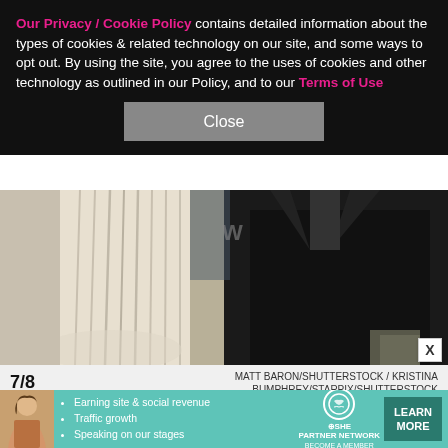Our Privacy / Cookie Policy contains detailed information about the types of cookies & related technology on our site, and some ways to opt out. By using the site, you agree to the uses of cookies and other technology as outlined in our Policy, and to our Terms of Use
Close
[Figure (photo): Photo showing two people: a woman in a white corset-style dress on the left and a man in a black suit on the right, cropped at torso level]
7/8   MATT BARON/SHUTTERSTOCK / KRISTINA BUMPHREY/STARPIX/SHUTTERSTOCK
Caitlyn Jenner says Kim Kardashian seems 'really happy' with Pete Davidson
Kim Kardashian has yet to speak publicly about her
[Figure (infographic): SHE Partner Network advertisement banner with avatar image, bullet points about Earning site & social revenue, Traffic growth, Speaking on our stages, SHE logo, and LEARN MORE button]